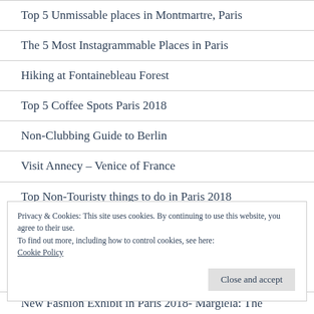Top 5 Unmissable places in Montmartre, Paris
The 5 Most Instagrammable Places in Paris
Hiking at Fontainebleau Forest
Top 5 Coffee Spots Paris 2018
Non-Clubbing Guide to Berlin
Visit Annecy – Venice of France
Top Non-Touristy things to do in Paris 2018
Privacy & Cookies: This site uses cookies. By continuing to use this website, you agree to their use.
To find out more, including how to control cookies, see here: Cookie Policy
New Fashion Exhibit in Paris 2018- Margiela: The